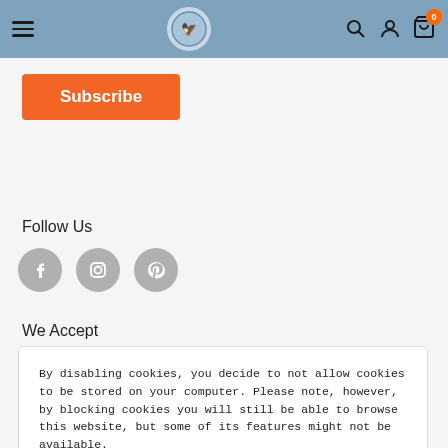Navigation header with hamburger menu, logo, search, account, and cart (0) icons
Subscribe
Follow Us
[Figure (illustration): Three social media icons: Facebook, Instagram, Pinterest — grey circles with white icons]
We Accept
By disabling cookies, you decide to not allow cookies to be stored on your computer. Please note, however, by blocking cookies you will still be able to browse this website, but some of its features might not be available.
Accept